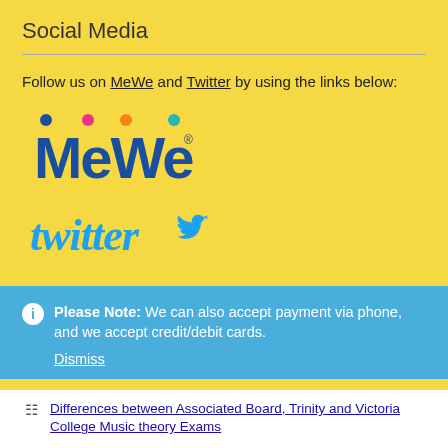Social Media
Follow us on MeWe and Twitter by using the links below:
[Figure (logo): MeWe logo with colorful dots above letters]
[Figure (logo): Twitter logo with bird icon in blue]
Please Note: We can also accept payment via phone, and we accept credit/debit cards.
Dismiss
Differences between Associated Board, Trinity and Victoria College Music theory Exams
Online Piano and/or Music Theory Lessons with Rachel